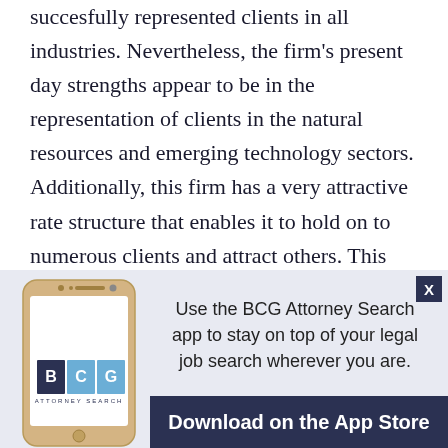succesfully represented clients in all industries. Nevertheless, the firm's present day strengths appear to be in the representation of clients in the natural resources and emerging technology sectors. Additionally, this firm has a very attractive rate structure that enables it to hold on to numerous clients and attract others. This firm recruits primarily from local Colorado law schools and also draws from some national law schools. There is a good sense of community at this firm and, while there are certainly more prestigious firms in the Denver area, this firm is a
[Figure (infographic): BCG Attorney Search mobile app advertisement. Shows a smartphone with the BCG Attorney Search logo and text: 'Use the BCG Attorney Search app to stay on top of your legal job search wherever you are.' with a dark 'Download on the App Store' button.]